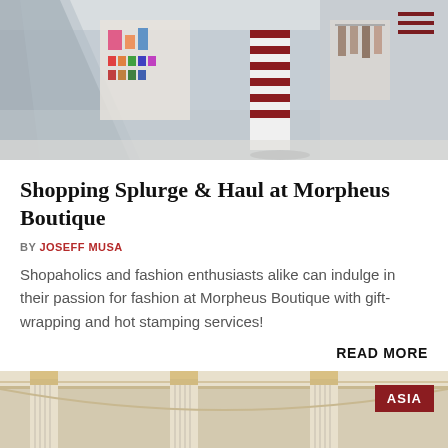[Figure (photo): Interior of a high-end shopping boutique/mall with cosmetic displays, mannequins, and clothing racks. A hamburger menu icon appears at top right.]
Shopping Splurge & Haul at Morpheus Boutique
BY JOSEFF MUSA
Shopaholics and fashion enthusiasts alike can indulge in their passion for fashion at Morpheus Boutique with gift-wrapping and hot stamping services!
READ MORE
[Figure (photo): Interior of a grand classical-style venue with white marble columns with gold accents, ornate ceiling. An 'ASIA' badge appears at top right.]